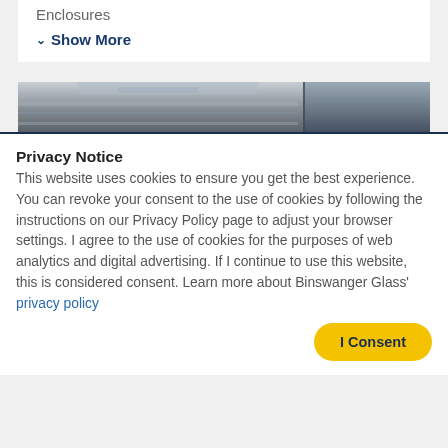Enclosures
Show More
[Figure (photo): A photo strip showing metal/glass shelving or enclosure structures, industrial setting]
Privacy Notice
This website uses cookies to ensure you get the best experience. You can revoke your consent to the use of cookies by following the instructions on our Privacy Policy page to adjust your browser settings. I agree to the use of cookies for the purposes of web analytics and digital advertising. If I continue to use this website, this is considered consent. Learn more about Binswanger Glass' privacy policy
I Consent